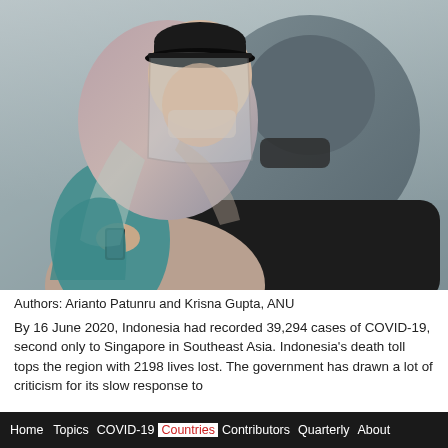[Figure (photo): Two women wearing hijabs and face masks/shields, one using a smartphone, photographed from behind/side in an outdoor setting.]
Authors: Arianto Patunru and Krisna Gupta, ANU
By 16 June 2020, Indonesia had recorded 39,294 cases of COVID-19, second only to Singapore in Southeast Asia. Indonesia’s death toll tops the region with 2198 lives lost. The government has drawn a lot of criticism for its slow response to
Home  Topics  COVID-19  Countries  Contributors  Quarterly  About